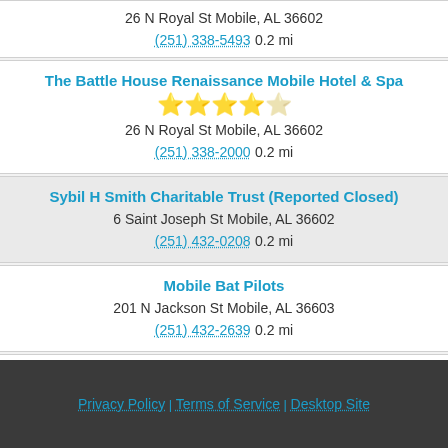26 N Royal St Mobile, AL 36602
(251) 338-5493  0.2 mi
The Battle House Renaissance Mobile Hotel & Spa
⭐⭐⭐⭐½ (4.5 stars)
26 N Royal St Mobile, AL 36602
(251) 338-2000  0.2 mi
Sybil H Smith Charitable Trust (Reported Closed)
6 Saint Joseph St Mobile, AL 36602
(251) 432-0208  0.2 mi
Mobile Bat Pilots
201 N Jackson St Mobile, AL 36603
(251) 432-2639  0.2 mi
1 to 20 of 200.
Next 20
Privacy Policy | Terms of Service | Desktop Site